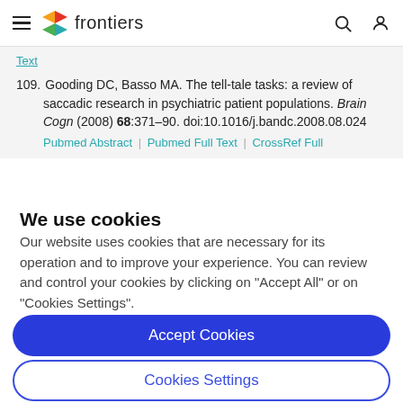frontiers
Text
109. Gooding DC, Basso MA. The tell-tale tasks: a review of saccadic research in psychiatric patient populations. Brain Cogn (2008) 68:371–90. doi:10.1016/j.bandc.2008.08.024 | Pubmed Abstract | Pubmed Full Text | CrossRef Full
We use cookies
Our website uses cookies that are necessary for its operation and to improve your experience. You can review and control your cookies by clicking on "Accept All" or on "Cookies Settings".
Accept Cookies
Cookies Settings